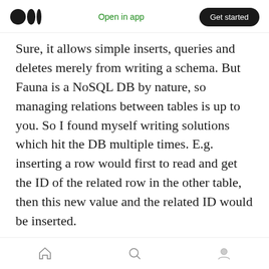Medium logo | Open in app | Get started
Sure, it allows simple inserts, queries and deletes merely from writing a schema. But Fauna is a NoSQL DB by nature, so managing relations between tables is up to you. So I found myself writing solutions which hit the DB multiple times. E.g. inserting a row would first to read and get the ID of the related row in the other table, then this new value and the related ID would be inserted.
FaunaDB does have "Functions", which would run on their infra and do more complex logic in one operation, but 1) it requires writing FQL,
Home | Search | Profile